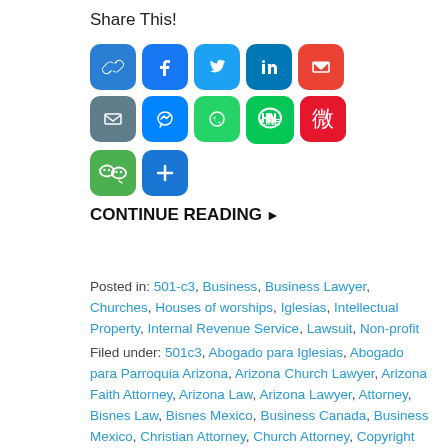Share This!
[Figure (infographic): Social sharing icons: link, Facebook, Twitter, LinkedIn, Gmail, Email, Messenger, WhatsApp, LINE, Weibo, WeChat, Share+]
CONTINUE READING ▶
Posted in: 501-c3, Business, Business Lawyer, Churches, Houses of worships, Iglesias, Intellectual Property, Internal Revenue Service, Lawsuit, Non-profit
Filed under: 501c3, Abogado para Iglesias, Abogado para Parroquia Arizona, Arizona Church Lawyer, Arizona Faith Attorney, Arizona Law, Arizona Lawyer, Attorney, Bisnes Law, Bisnes Mexico, Business Canada, Business Mexico, Christian Attorney, Church Attorney, Copyright Law, Foreign Business, Foreign Trade, Garciaacosta Arizona, Iglesias Abogado, Iglesias Leyes US, International business,